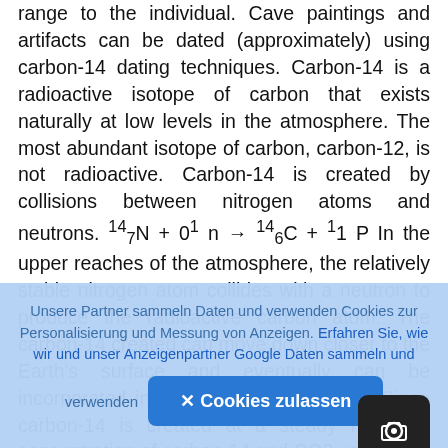range to the individual. Cave paintings and artifacts can be dated (approximately) using carbon-14 dating techniques. Carbon-14 is a radioactive isotope of carbon that exists naturally at low levels in the atmosphere. The most abundant isotope of carbon, carbon-12, is not radioactive. Carbon-14 is created by collisions between nitrogen atoms and neutrons. ¹⁴₇N + 0¹ n → ¹⁴₆C + ¹1 P In the upper reaches of the atmosphere, the relatively stable nitrogen atom collides with a neutron to produce the radioactive carbon atom. The carbon-14 created can move down closer to the Earth's surface and eventually can be incorporated into carbon dioxide (CO2). Since carbon-14 is created at a steady rate, the concentration of carbon-14 and CO2 containing
Unsere Partner sammeln Daten und verwenden Cookies zur Personalisierung und Messung von Anzeigen. Erfahren Sie, wie wir und unser Anzeigenpartner Google Daten sammeln und verwenden